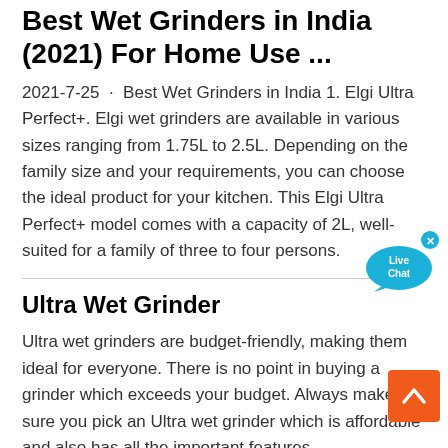Best Wet Grinders in India (2021) For Home Use ...
2021-7-25 · Best Wet Grinders in India 1. Elgi Ultra Perfect+. Elgi wet grinders are available in various sizes ranging from 1.75L to 2.5L. Depending on the family size and your requirements, you can choose the ideal product for your kitchen. This Elgi Ultra Perfect+ model comes with a capacity of 2L, well-suited for a family of three to four persons.
[Figure (other): Live Chat speech bubble button overlay, cyan/blue with white text 'Live Chat' and an X close button]
Ultra Wet Grinder
Ultra wet grinders are budget-friendly, making them ideal for everyone. There is no point in buying a grinder which exceeds your budget. Always make sure you pick an Ultra wet grinder which is affordable and also has all the important features...
[Figure (other): Orange scroll-to-top button with white upward chevron arrow]